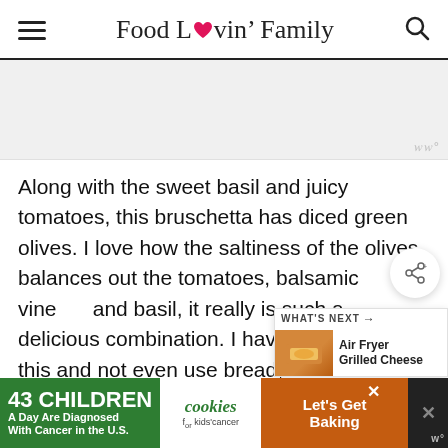Food Lovin' Family
[Figure (other): Gray advertisement placeholder box with Mediavine watermark in bottom right]
Along with the sweet basil and juicy tomatoes, this bruschetta has diced green olives. I love how the saltiness of the olives balances out the tomatoes, balsamic vine and basil, it really is such a delicious combination. I have been known t this and not even use bread, all I need is
[Figure (infographic): WHAT'S NEXT box with Air Fryer Grilled Cheese thumbnail]
[Figure (infographic): Bottom advertisement: 43 CHILDREN A Day Are Diagnosed With Cancer in the U.S. / cookies for kids cancer / Let's Get Baking]